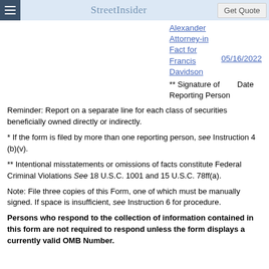StreetInsider | Get Quote
Alexander Attorney-in Fact for Francis Davidson  05/16/2022
** Signature of Reporting Person   Date
Reminder: Report on a separate line for each class of securities beneficially owned directly or indirectly.
* If the form is filed by more than one reporting person, see Instruction 4 (b)(v).
** Intentional misstatements or omissions of facts constitute Federal Criminal Violations See 18 U.S.C. 1001 and 15 U.S.C. 78ff(a).
Note: File three copies of this Form, one of which must be manually signed. If space is insufficient, see Instruction 6 for procedure.
Persons who respond to the collection of information contained in this form are not required to respond unless the form displays a currently valid OMB Number.